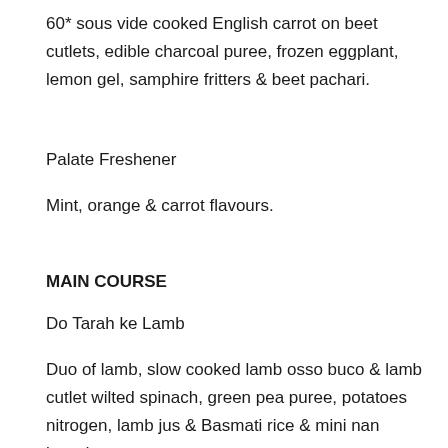60* sous vide cooked English carrot on beet cutlets, edible charcoal puree, frozen eggplant, lemon gel, samphire fritters & beet pachari.
Palate Freshener
Mint, orange & carrot flavours.
MAIN COURSE
Do Tarah ke Lamb
Duo of lamb, slow cooked lamb osso buco & lamb cutlet wilted spinach, green pea puree, potatoes nitrogen, lamb jus & Basmati rice & mini nan bread.
Vegetarian / Vegan Option
Gobhi aur Bharawa Aloo